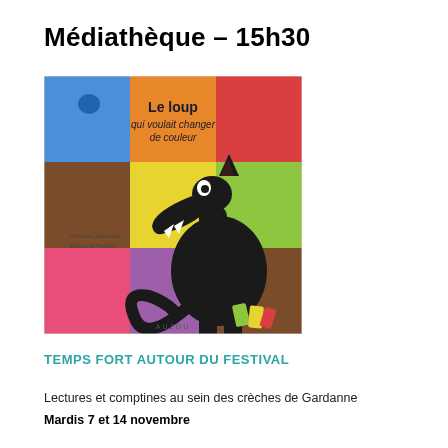Médiathèque – 15h30
[Figure (illustration): Book cover of 'Le loup qui voulait changer de couleur' by Orianne Lallemand and Éléonore Thuillier. Shows a black wolf against a colorful grid background (blue, orange, red, pink, yellow, green, brown, purple squares). Published by Auzou.]
TEMPS FORT AUTOUR DU FESTIVAL
Lectures et comptines au sein des crèches de Gardanne
Mardis 7 et 14 novembre